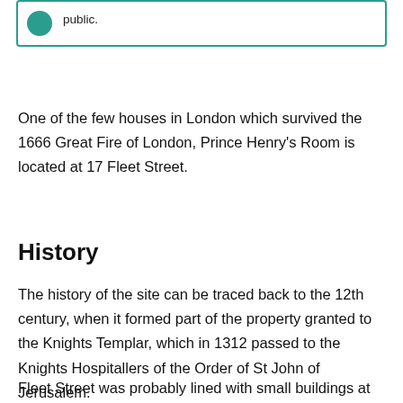public.
One of the few houses in London which survived the 1666 Great Fire of London, Prince Henry's Room is located at 17 Fleet Street.
History
The history of the site can be traced back to the 12th century, when it formed part of the property granted to the Knights Templar, which in 1312 passed to the Knights Hospitallers of the Order of St John of Jerusalem.
Fleet Street was probably lined with small buildings at an